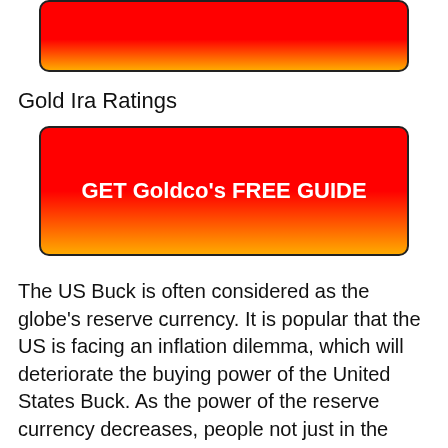[Figure (other): Red to gold gradient banner/button at top of page]
Gold Ira Ratings
[Figure (other): Red to gold gradient CTA button with text GET Goldco's FREE GUIDE]
The US Buck is often considered as the globe's reserve currency. It is popular that the US is facing an inflation dilemma, which will deteriorate the buying power of the United States Buck. As the power of the reserve currency decreases, people not just in the USA, but all over the world, are likely to group to the protection of gold and